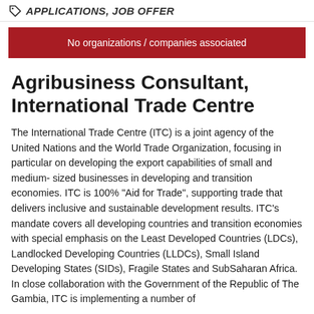APPLICATIONS, JOB OFFER
No organizations / companies associated
Agribusiness Consultant, International Trade Centre
The International Trade Centre (ITC) is a joint agency of the United Nations and the World Trade Organization, focusing in particular on developing the export capabilities of small and medium- sized businesses in developing and transition economies. ITC is 100% "Aid for Trade", supporting trade that delivers inclusive and sustainable development results. ITC's mandate covers all developing countries and transition economies with special emphasis on the Least Developed Countries (LDCs), Landlocked Developing Countries (LLDCs), Small Island Developing States (SIDs), Fragile States and SubSaharan Africa. In close collaboration with the Government of the Republic of The Gambia, ITC is implementing a number of